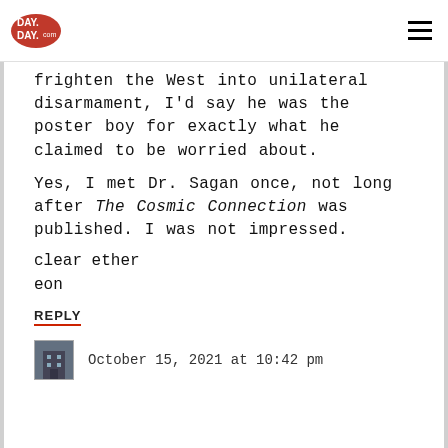DAY DAY
frighten the West into unilateral disarmament, I'd say he was the poster boy for exactly what he claimed to be worried about.
Yes, I met Dr. Sagan once, not long after The Cosmic Connection was published. I was not impressed.
clear ether
eon
REPLY
October 15, 2021 at 10:42 pm